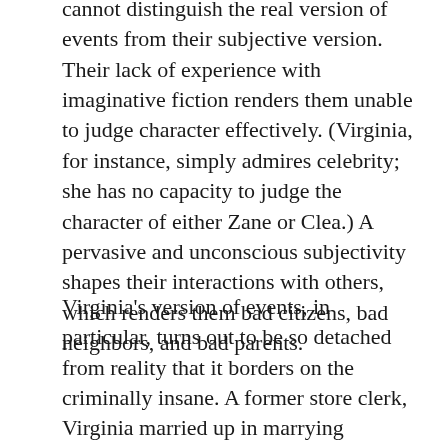cannot distinguish the real version of events from their subjective version. Their lack of experience with imaginative fiction renders them unable to judge character effectively. (Virginia, for instance, simply admires celebrity; she has no capacity to judge the character of either Zane or Clea.) A pervasive and unconscious subjectivity shapes their interactions with others, which renders them bad citizens, bad neighbors, and bad parents.
Virginia's version of events, in particular, turns out to be so detached from reality that it borders on the criminally insane. A former store clerk, Virginia married up in marrying Stephen, the son of one of the town's two most politically powerful families. (The other, even more important, is the Tuckers.) For over twenty years, she has devoted herself to the fantasy that her daughter, Rachel, will marry the town's mayor, Phin Tucker: a marriage that would